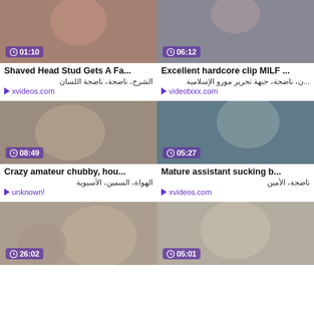[Figure (screenshot): Video thumbnail 1 with duration 01:10]
[Figure (screenshot): Video thumbnail 2 with duration 06:12]
Shaved Head Stud Gets A Fa...
Excellent hardcore clip MILF ...
الشرج، ناضجة، ناضجة اللسان
...ن، ناضجة، جبهة تحرير مورو الإسلامية
▷ xvideos.com
▷ videotxxx.com
[Figure (screenshot): Video thumbnail 3 with duration 08:49]
[Figure (screenshot): Video thumbnail 4 with duration 05:27]
Crazy amateur chubby, hou...
Mature assistant sucking b...
الهواة، السمين، الآسيوية
ناضجة، الأمين
▷ unknown!
▷ xvideos.com
[Figure (screenshot): Video thumbnail 5 with duration 26:02]
[Figure (screenshot): Video thumbnail 6 with duration 05:01]